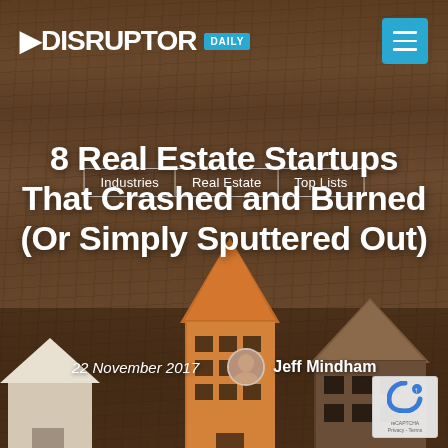DISRUPTOR DAILY
Industries | Real Estate | Top Lists
8 Real Estate Startups That Crashed and Burned (Or Simply Sputtered Out)
22 November 2017   Jeff Mindham